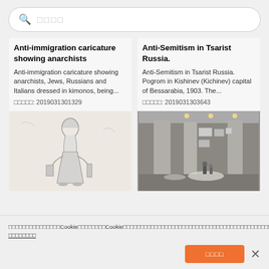🔍 □□□□
Anti-immigration caricature showing anarchists
Anti-immigration caricature showing anarchists, Jews, Russians and Italians dressed in kimonos, being...
□□□□□: 2019031301329
[Figure (photo): Black and white sketch illustration of a bearded figure in robes holding items]
Anti-Semitism in Tsarist Russia.
Anti-Semitism in Tsarist Russia. Pogrom in Kishinev (Kichinev) capital of Bessarabia, 1903. The...
□□□□□: 2019031303643
[Figure (photo): Interior of a museum exhibition hall with large concrete pillars and photographs on display, visitors visible]
□□□□□□□□□□□□□□□Cookie□□□□□□□□Cookie□□□□□□□□□□□□□□□□□□□□□□□□□□□□□□□□□□□□□□□□□□□□□□□□□□□Cookie□□□□□□□□□□□□□□□□ □□□□□□□□
□□□□